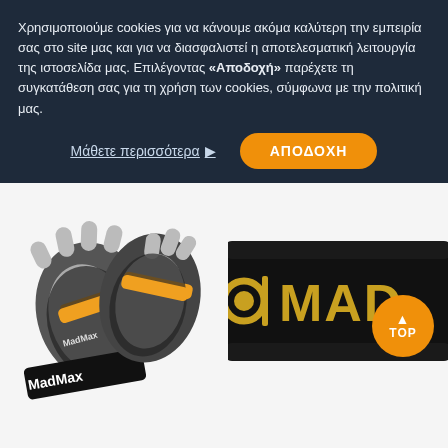Χρησιμοποιούμε cookies για να κάνουμε ακόμα καλύτερη την εμπειρία σας στο site μας και για να διασφαλιστεί η αποτελεσματική λειτουργία της ιστοσελίδα μας. Επιλέγοντας «Αποδοχή» παρέχετε τη συγκατάθεση σας για τη χρήση των cookies, σύμφωνα με την πολιτική μας.
Μάθετε περισσότερα ▶
ΑΠΟΔΟΧΗ
[Figure (photo): MadMax fingerless gym gloves in black, grey and yellow, with wrist wraps labeled MadMax]
[Figure (photo): MadMax weightlifting belt in black with gold MadMax branding text, partially visible]
Γάντια Γυμναστικής
Ζώνες Γυμναστικής